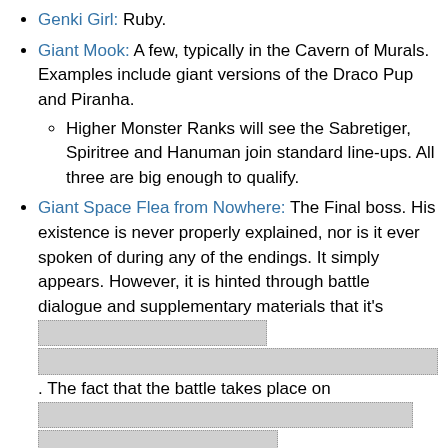Genki Girl: Ruby.
Giant Mook: A few, typically in the Cavern of Murals. Examples include giant versions of the Draco Pup and Piranha.
Higher Monster Ranks will see the Sabretiger, Spiritree and Hanuman join standard line-ups. All three are big enough to qualify.
Giant Space Flea from Nowhere: The Final boss. His existence is never properly explained, nor is it ever spoken of during any of the endings. It simply appears. However, it is hinted through battle dialogue and supplementary materials that it's [spoiler]. The fact that the battle takes place on [spoiler]
Glass Cannon: Michelle has the highest growth stat for both the strength and skill stat, allowing her to do a ton of damage, especially with [light martial arts icon] light martial arts. The catch?